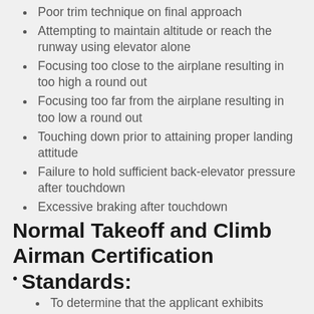Poor trim technique on final approach
Attempting to maintain altitude or reach the runway using elevator alone
Focusing too close to the airplane resulting in too high a round out
Focusing too far from the airplane resulting in too low a round out
Touching down prior to attaining proper landing attitude
Failure to hold sufficient back-elevator pressure after touchdown
Excessive braking after touchdown
Normal Takeoff and Climb Airman Certification
Standards:
To determine that the applicant exhibits satisfactory knowledge, risk management, and skills associated with a normal approach and landing with emphasis on